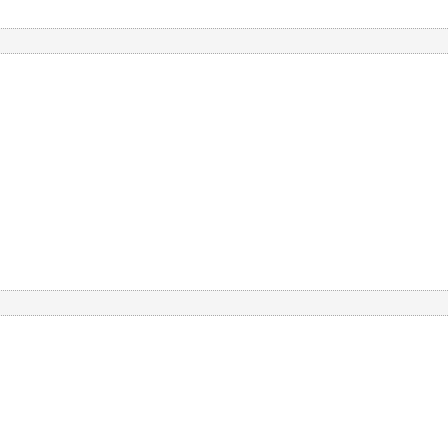TLF. :)
Posted by: Stacey | January 26, 2007 at 05:17 PM
"I'll name you Katherine in honor of your
I love how Kayla has the baby and oops, and (only sort of) forgets that she killed th
Sorry Bree. She's not one of my favorites Bioootch!
I hope Jenna steals her. Mwahahaha
Posted by: Molly | January 26, 2007 at 09:33 PM
Phew, I thought it was just going to be th
I loved all your commenting along the wa
That whole phone conversationg smacke Jenna was probably choking back rage, prison la-la land is in for a rude awakenin
Kayla may be OK now, but once she sna phone (or once they take the kid away st